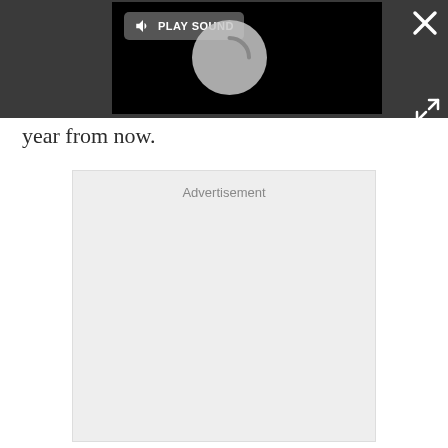[Figure (screenshot): Dark overlay bar with embedded video player showing a loading spinner. A 'PLAY SOUND' button with a speaker icon is shown in the top-left of the video. A white X close button is in the top-right corner. An expand/fullscreen icon is below the close button.]
year from now.
Advertisement